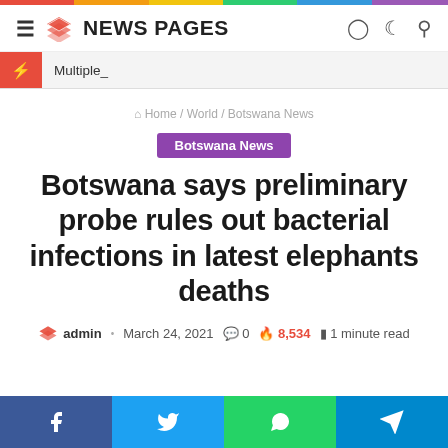NEWS PAGES
Multiple_
Home / World / Botswana News
Botswana News
Botswana says preliminary probe rules out bacterial infections in latest elephants deaths
admin · March 24, 2021  0  8,534  1 minute read